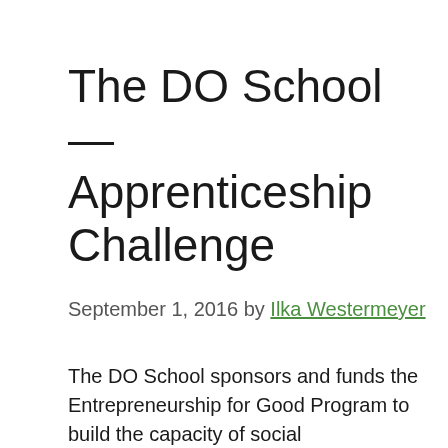The DO School — Apprenticeship Challenge
September 1, 2016 by Ilka Westermeyer
The DO School sponsors and funds the Entrepreneurship for Good Program to build the capacity of social entrepreneurs in strategies and methods of promoting on-the-job learning, e.g., apprenticeships.  The Apprenticeship Challenge will accept 20 individuals for a 10-week incubation phase in